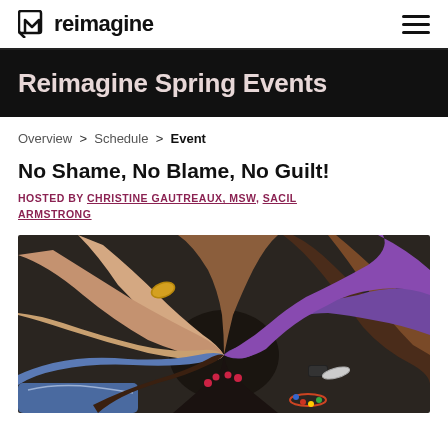reimagine [logo + hamburger menu]
Reimagine Spring Events
Overview > Schedule > Event
No Shame, No Blame, No Guilt!
HOSTED BY CHRISTINE GAUTREAUX, MSW, SACIL ARMSTRONG
[Figure (photo): Diverse group of people placing their hands together in a circle, viewed from above, showing hands of different skin tones touching in the center, some wearing bracelets and a watch.]